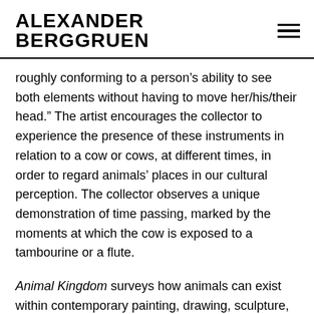ALEXANDER BERGGRUEN
roughly conforming to a person’s ability to see both elements without having to move her/his/their head.” The artist encourages the collector to experience the presence of these instruments in relation to a cow or cows, at different times, in order to regard animals’ places in our cultural perception. The collector observes a unique demonstration of time passing, marked by the moments at which the cow is exposed to a tambourine or a flute.
Animal Kingdom surveys how animals can exist within contemporary painting, drawing, sculpture, and conceptual art from the past four decades. Whether animals are portrayed or employed as media, the works in this show reflect how contemporary artists have